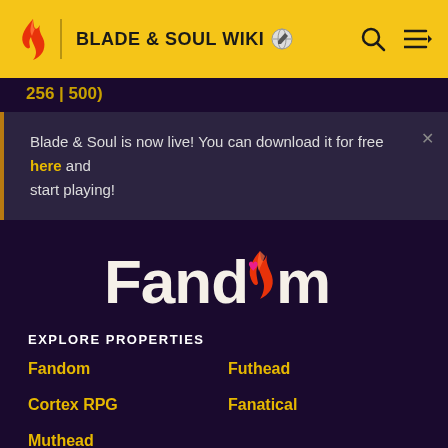BLADE & SOUL WIKI
256 | 500)
Blade & Soul is now live! You can download it for free here and start playing!
[Figure (logo): Fandom logo with flame icon and heart symbol]
EXPLORE PROPERTIES
Fandom
Futhead
Cortex RPG
Fanatical
Muthead